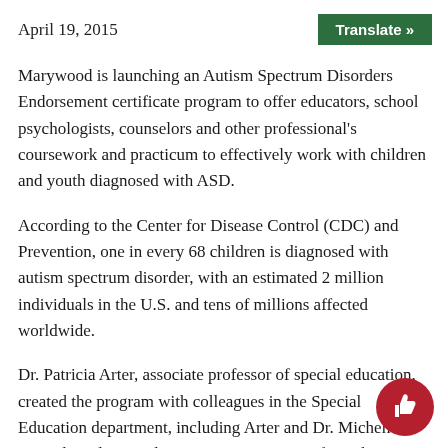April 19, 2015
Translate »
Marywood is launching an Autism Spectrum Disorders Endorsement certificate program to offer educators, school psychologists, counselors and other professional's coursework and practicum to effectively work with children and youth diagnosed with ASD.
According to the Center for Disease Control (CDC) and Prevention, one in every 68 children is diagnosed with autism spectrum disorder, with an estimated 2 million individuals in the U.S. and tens of millions affected worldwide.
Dr. Patricia Arter, associate professor of special education, created the program with colleagues in the Special Education department, including Arter and Dr. Michelle Gonzalez, along with Dr. Francis DeMatteo from the psychology program.“With the increase in those diagnose…